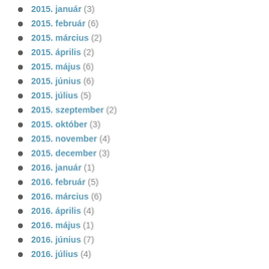2015. január (3)
2015. február (6)
2015. március (2)
2015. április (2)
2015. május (6)
2015. június (6)
2015. július (5)
2015. szeptember (2)
2015. október (3)
2015. november (4)
2015. december (3)
2016. január (1)
2016. február (5)
2016. március (6)
2016. április (4)
2016. május (1)
2016. június (7)
2016. július (4)